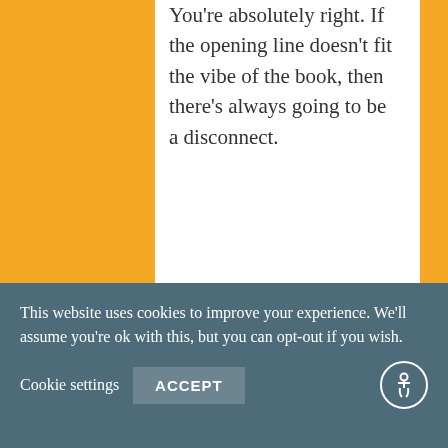You're absolutely right. If the opening line doesn't fit the vibe of the book, then there's always going to be a disconnect.
Loading...
Reply
4.
[Figure (photo): Circular avatar photo of Sophie @BewareOfTheReader]
Sophie @BewareOfTheReader says:
This website uses cookies to improve your experience. We'll assume you're ok with this, but you can opt-out if you wish.
Cookie settings
ACCEPT